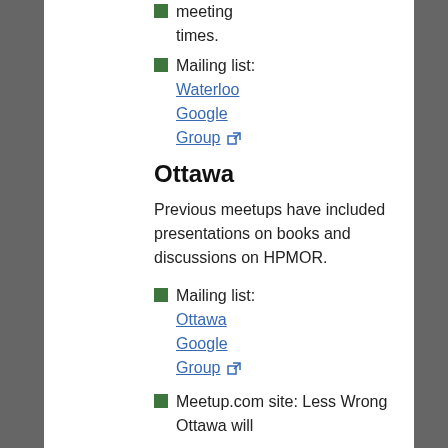meeting times.
Mailing list: Waterloo Google Group
Ottawa
Previous meetups have included presentations on books and discussions on HPMOR.
Mailing list: Ottawa Google Group
Meetup.com site: Less Wrong Ottawa will